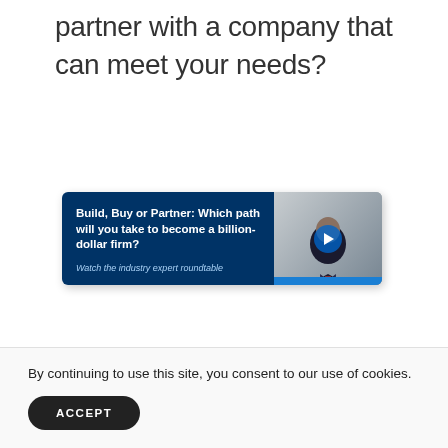partner with a company that can meet your needs?
[Figure (screenshot): Video thumbnail card with dark navy background on the left showing white bold text 'Build, Buy or Partner: Which path will you take to become a billion-dollar firm?' and italic link text 'Watch the industry expert roundtable'. On the right is a photo of a man in a suit with a blue play button overlay and a blue stripe at the bottom.]
By continuing to use this site, you consent to our use of cookies.
ACCEPT